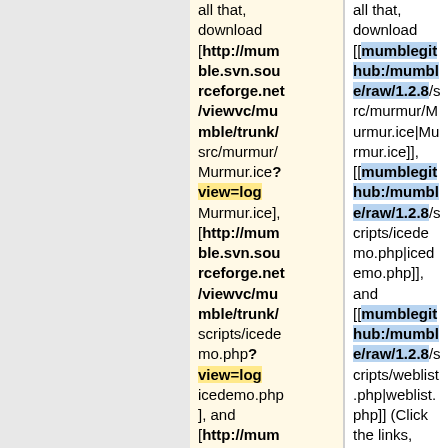all that, download [http://mumble.svn.sourceforge.net/viewvc/mumble/trunk/src/murmur/Murmur.ice?view=log Murmur.ice], [http://mumble.svn.sourceforge.net/viewvc/mumble/trunk/scripts/icedemo.php?view=log icedemo.php], and [http://mum ble.svn.sou
all that, download [[mumblegithub:/mumble/raw/1.2.8/src/murmur/Murmur.ice|Murmur.ice]], [[mumblegithub:/mumble/raw/1.2.8/scripts/icedemo.php|icedemo.php]], and [[mumblegithub:/mumble/raw/1.2.8/scripts/weblist.php|weblist.php]] (Click the links, and on the